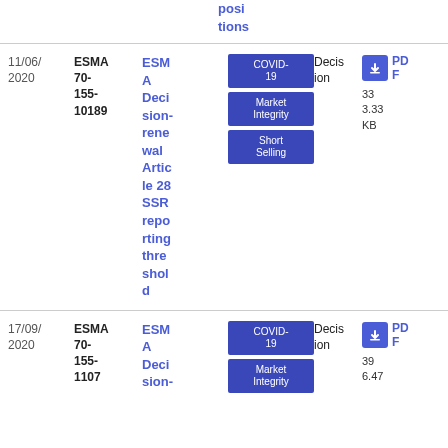positions
| Date | Reference | Title | Tags | Type | File |
| --- | --- | --- | --- | --- | --- |
| 11/06/2020 | ESMA 70-155-101889 | ESMA Decision-renewal Article 28 SSR reporting threshold | COVID-19, Market Integrity, Short Selling | Decision | PDF 33 3.33 KB |
| 17/09/2020 | ESMA 70-155-1107 | ESMA Decision- | COVID-19, Market Integrity | Decision | PDF 39 6.47 |